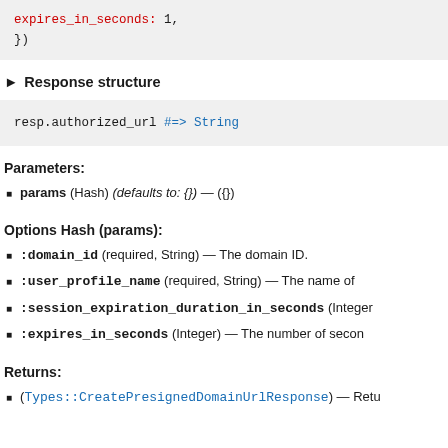[Figure (screenshot): Code block showing: expires_in_seconds: 1, })]
▶ Response structure
[Figure (screenshot): Code block showing: resp.authorized_url #=> String]
Parameters:
params (Hash) (defaults to: {}) — ({})
Options Hash (params):
:domain_id (required, String) — The domain ID.
:user_profile_name (required, String) — The name of
:session_expiration_duration_in_seconds (Integer
:expires_in_seconds (Integer) — The number of secon
Returns:
(Types::CreatePresignedDomainUrlResponse) — Retu